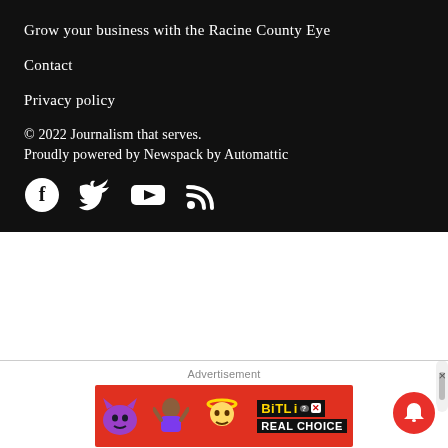Grow your business with the Racine County Eye
Contact
Privacy policy
© 2022 Journalism that serves.
Proudly powered by Newspack by Automattic
[Figure (other): Social media icons: Facebook, Twitter, YouTube, RSS feed]
[Figure (other): BitLife advertisement banner with devil, person, and angel emojis, red background, text REAL CHOICE]
Advertisement